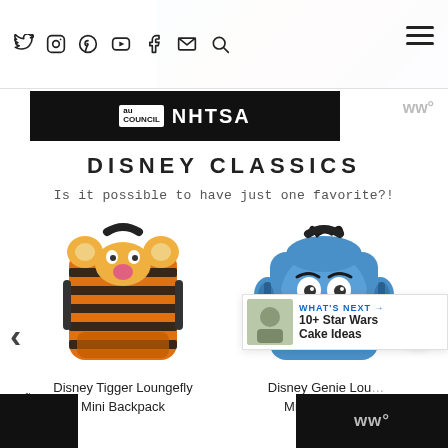Social icons: Twitter, Instagram, Pinterest, YouTube, Facebook, Email, Search | Hamburger menu
[Figure (screenshot): NHTSA banner with au council logo on dark background]
DISNEY CLASSICS
Is it possible to have just one favorite?!
[Figure (photo): Disney Tigger Loungefly Mini Backpack — orange and black striped tiger-face mini backpack]
Disney Tigger Loungefly Mini Backpack
[Figure (photo): Disney Genie Loungefly Mini Backpack — blue genie character face mini backpack]
Disney Genie Loungefly Mini Backpack
WHAT'S NEXT → 10+ Star Wars Cake Ideas
Footer bars with weather widget